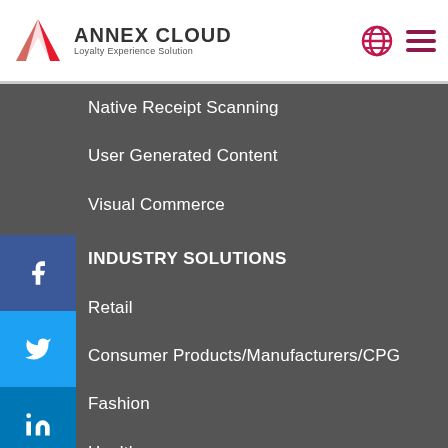Annex Cloud — Loyalty Experience Solution
Native Receipt Scanning
User Generated Content
Visual Commerce
INDUSTRY SOLUTIONS
Retail
Consumer Products/Manufacturers/CPG
Fashion
Healthcare
Travel & Hospitality
Non-Profit
Education
Direct Sales